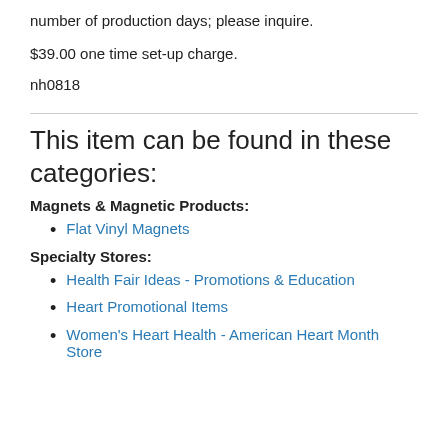number of production days; please inquire.
$39.00 one time set-up charge.
nh0818
This item can be found in these categories:
Magnets & Magnetic Products:
Flat Vinyl Magnets
Specialty Stores:
Health Fair Ideas - Promotions & Education
Heart Promotional Items
Women's Heart Health - American Heart Month Store